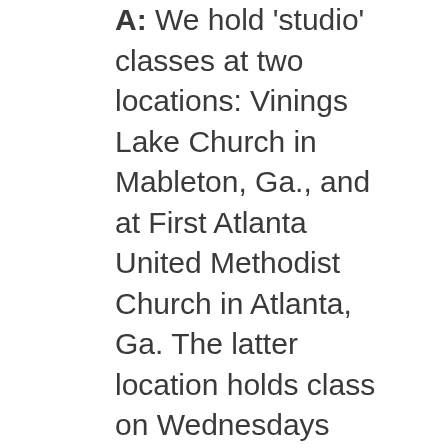A: We hold 'studio' classes at two locations: Vinings Lake Church in Mableton, Ga., and at First Atlanta United Methodist Church in Atlanta, Ga. The latter location holds class on Wednesdays only. Those classes are complimentary and open to the public. All other classes are held at Vinings Lake Church. To see a complete schedule of times and locations visit shineagainyoga.com/classes.
Q: I've never done yoga before. What class or classes would be good for